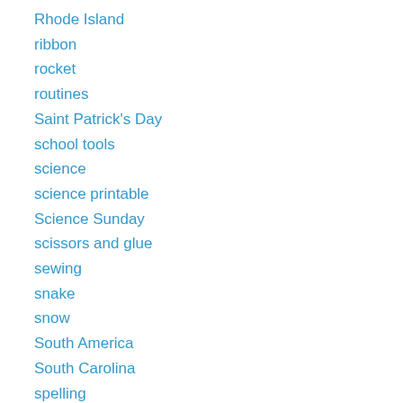Rhode Island
ribbon
rocket
routines
Saint Patrick's Day
school tools
science
science printable
Science Sunday
scissors and glue
sewing
snake
snow
South America
South Carolina
spelling
stART
summer
Superman
swimming creatures